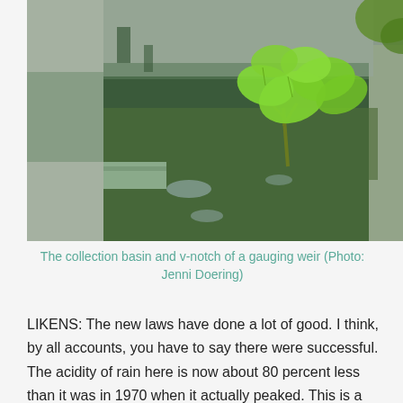[Figure (photo): Photograph of a collection basin and v-notch of a gauging weir, showing a concrete-walled water basin with green algae and moss, with a bright green maple seedling growing in the water, and concrete stepped structure on the left side.]
The collection basin and v-notch of a gauging weir (Photo: Jenni Doering)
LIKENS: The new laws have done a lot of good. I think, by all accounts, you have to say there were successful. The acidity of rain here is now about 80 percent less than it was in 1970 when it actually peaked. This is a sensitive